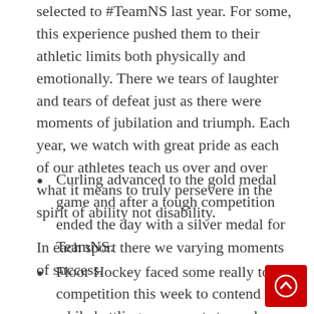selected to #TeamNS last year.  For some, this experience pushed them to their athletic limits both physically and emotionally.  There we tears of laughter and tears of defeat just as there were moments of jubilation and triumph.  Each year, we watch with great pride as each of our athletes teach us over and over what it means to truly persevere in the spirit of ability not disability.
In each sport there we varying moments of success.
Curling advanced to the gold medal game and after a tough competition ended the day with a silver medal for TeamNS.
Floor Hockey faced some really tough competition this week to contend with while battling a rampant stomach virus that hit the team hard. Despite that, each of them truly